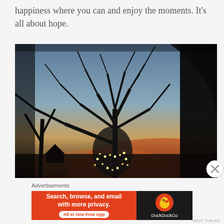happiness where you can and enjoy the moments. It's all about hope.
[Figure (photo): Outdoor twilight photo of bare winter trees silhouetted against a blue-grey and orange sky, with string lights on a small tree in the foreground and dark archway framing on the right.]
Advertisements
[Figure (screenshot): DuckDuckGo advertisement banner. Left side is orange with white bold text: 'Search, browse, and email with more privacy.' and white button 'All in One Free App'. Right side is dark with DuckDuckGo logo and brand name.]